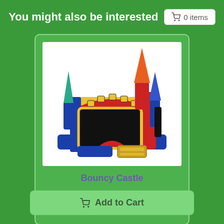You might also be interested  🛒 0 items
[Figure (photo): Colorful inflatable bouncy castle with blue, red, yellow body and multiple cone-shaped turrets in teal, orange, and blue colors, with a black mesh window and blue foam step at the entrance.]
Bouncy Castle
🛒 Add to Cart